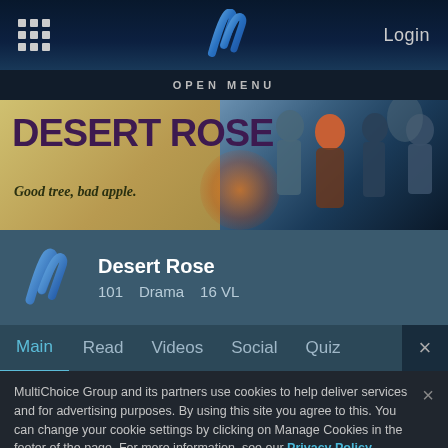Login
OPEN MENU
[Figure (screenshot): Desert Rose TV show banner with title 'DESERT ROSE' and tagline 'Good tree, bad apple.' on sandy background with cast photo on right]
Desert Rose
101   Drama   16 VL
Main   Read   Videos   Social   Quiz
MultiChoice Group and its partners use cookies to help deliver services and for advertising purposes. By using this site you agree to this. You can change your cookie settings by clicking on Manage Cookies in the footer of the page. For more information, see our Privacy Policy